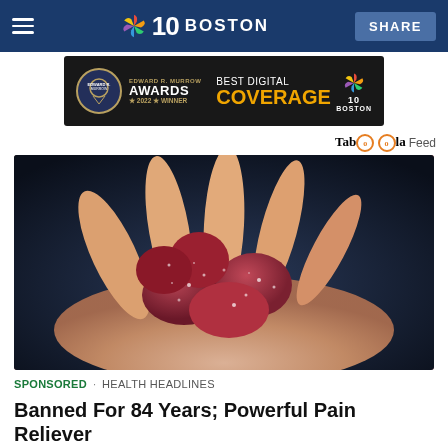NBC 10 BOSTON | SHARE
[Figure (infographic): Edward R. Murrow Awards 2022 Winner — Best Digital Coverage — NBC 10 Boston advertisement banner on dark background]
Taboola Feed
[Figure (photo): Close-up photo of sugar-coated dark red gummy candies held in a human hand against a dark blue background]
SPONSORED · HEALTH HEADLINES
Banned For 84 Years; Powerful Pain Reliever